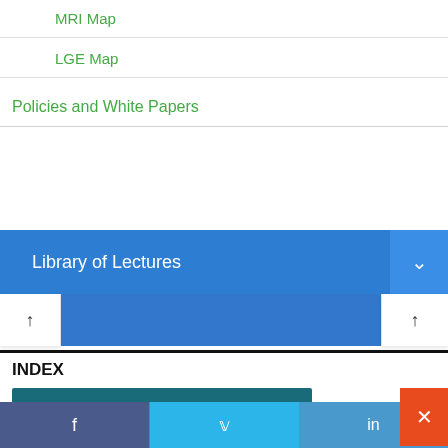MRI Map
LGE Map
Policies and White Papers
Library of Lectures
INDEX
[Figure (photo): MRI/thermal color map image showing a half-dome shape with rainbow color gradient (blue center labeled TCV) on a teal background]
f  (twitter bird)  in